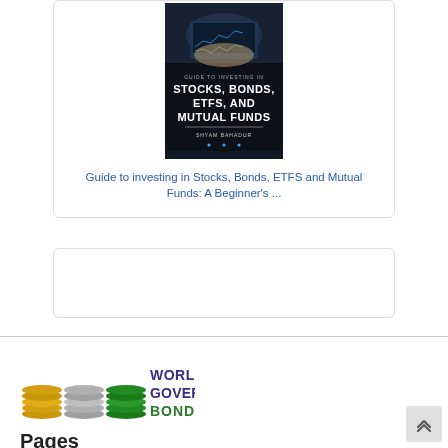[Figure (illustration): Book cover: 'Guide to Investing in Stocks, Bonds, ETFs, and Mutual Funds' by Shyam Bahadur. Dark background with a person typing on a laptop with stock charts overlay.]
Guide to investing in Stocks, Bonds, ETFS and Mutual Funds: A Beginner's ...
[Figure (logo): World Government Bonds logo with stacked wave icons in gold, grey, and green colors next to the text 'WORLD GOVERNMENT BONDS']
Pages